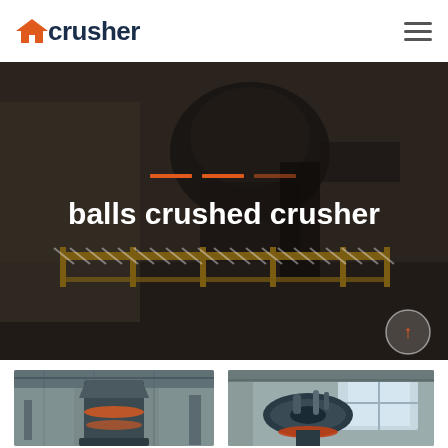crusher
[Figure (photo): Industrial crusher machine with yellow safety railing in a factory setting, dark overlay with text 'balls crushed crusher' and orange decorative lines]
[Figure (photo): Industrial grinding mill machine (vertical roller mill) inside a factory building]
[Figure (photo): Industrial crusher machine top view inside a factory with natural lighting]